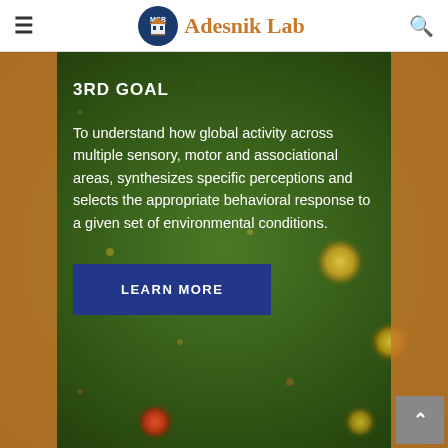Adesnik Lab
3RD GOAL
To understand how global activity across multiple sensory, motor and associational areas, synthesizes specific perceptions and selects the appropriate behavioral response to a given set of environmental conditions.
[Figure (photo): Microscopy image showing fluorescent neurons (yellow/orange) on a dark green background, used as the main content panel background for the Adesnik Lab website.]
LEARN MORE